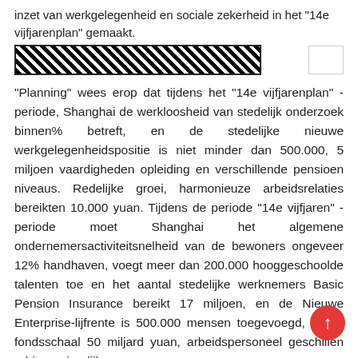inzet van werkgelegenheid en sociale zekerheid in het "14e vijfjarenplan" gemaakt.
[REDACTED], [REDACTED]
"Planning" wees erop dat tijdens het "14e vijfjarenplan" -periode, Shanghai de werkloosheid van stedelijk onderzoek binnen% betreft, en de stedelijke nieuwe werkgelegenheidspositie is niet minder dan 500.000, 5 miljoen vaardigheden opleiding en verschillende pensioen niveaus. Redelijke groei, harmonieuze arbeidsrelaties bereikten 10.000 yuan. Tijdens de periode "14e vijfjaren" -periode moet Shanghai het algemene ondernemersactiviteitsnelheid van de bewoners ongeveer 12% handhaven, voegt meer dan 200.000 hooggeschoolde talenten toe en het aantal stedelijke werknemers Basic Pension Insurance bereikt 17 miljoen, en de Nieuwe Enterprise-lijfrente is 500.000 mensen toegevoegd, nieuw fondsschaal 50 miljard yuan, arbeidspersoneel geschillen arbitrage jaarlijks